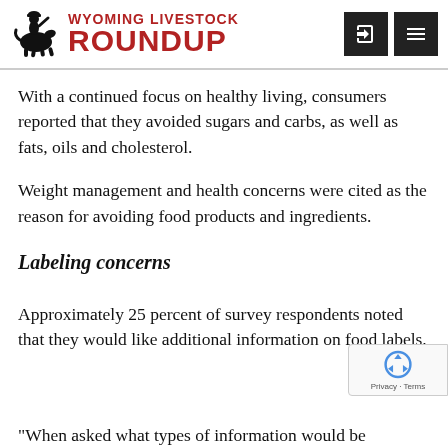Wyoming Livestock Roundup
With a continued focus on healthy living, consumers reported that they avoided sugars and carbs, as well as fats, oils and cholesterol.
Weight management and health concerns were cited as the reason for avoiding food products and ingredients.
Labeling concerns
Approximately 25 percent of survey respondents noted that they would like additional information on food labels.
“When asked what types of information would be